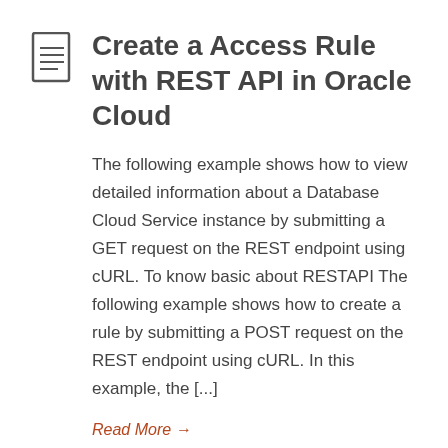Create a Access Rule with REST API in Oracle Cloud
The following example shows how to view detailed information about a Database Cloud Service instance by submitting a GET request on the REST endpoint using cURL. To know basic about RESTAPI The following example shows how to create a rule by submitting a POST request on the REST endpoint using cURL. In this example, the [...]
Read More →
Restart a Service Instance with REST API in Oracle Cloud